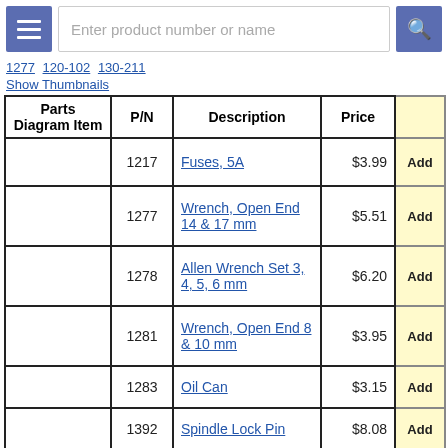Enter product number or name
1277   120-102   130-211
Show Thumbnails
| Parts Diagram Item | P/N | Description | Price |  |
| --- | --- | --- | --- | --- |
|  | 1217 | Fuses, 5A | $3.99 | Add |
|  | 1277 | Wrench, Open End 14 & 17 mm | $5.51 | Add |
|  | 1278 | Allen Wrench Set 3, 4, 5, 6 mm | $6.20 | Add |
|  | 1281 | Wrench, Open End 8 & 10 mm | $3.95 | Add |
|  | 1283 | Oil Can | $3.15 | Add |
|  | 1392 | Spindle Lock Pin | $8.08 | Add |
|  | 1416 | Wrench, Spanner 45-52 mm, ER-32 | $8.95 | Add |
|  | 1417 | Wrench, Open End 17 | $17.00 | Add |